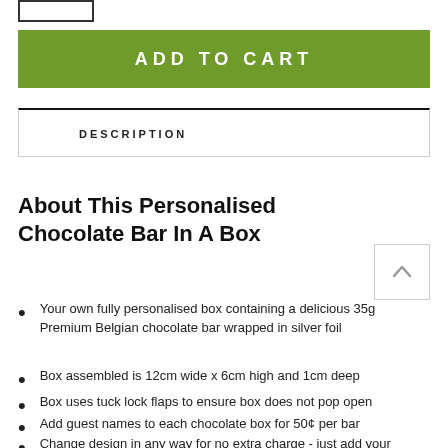[Figure (other): Small rectangular outline box in top-left corner]
ADD TO CART
DESCRIPTION
About This Personalised Chocolate Bar In A Box
Your own fully personalised box containing a delicious 35g Premium Belgian chocolate bar wrapped in silver foil
Box assembled is 12cm wide x 6cm high and 1cm deep
Box uses tuck lock flaps to ensure box does not pop open
Add guest names to each chocolate box for 50¢ per bar
Change design in any way for no extra charge - just add your request